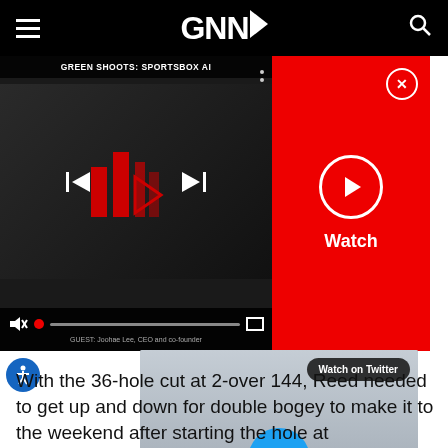GNNI
[Figure (screenshot): Video player showing GREEN SHOOTS: SPORTSBOX AI with playback controls, red graphic bars, progress bar, mute icon, and fullscreen button. Guest label: GUEST: Joohae Lee, CEO and co-founder]
[Figure (screenshot): Red panel with Watch button (play circle icon) and X close button]
[Figure (screenshot): Twitter embedded video thumbnail showing golfer crouching, with Watch on Twitter badge and blue play button]
With the 36-hole cut at 2-over 144, Reed needed to get up and down for double bogey to make it to the weekend after starting the hole at